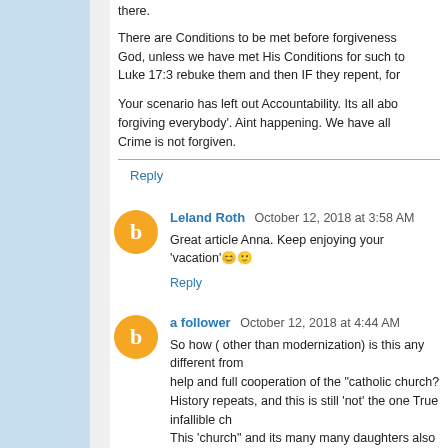there.
There are Conditions to be met before forgiveness God, unless we have met His Conditions for such to Luke 17:3 rebuke them and then IF they repent, for
Your scenario has left out Accountability. Its all abo forgiving everybody'. Aint happening. We have all Crime is not forgiven.
Reply
Leland Roth  October 12, 2018 at 3:58 AM
Great article Anna. Keep enjoying your 'vacation'😊🙂
Reply
a follower  October 12, 2018 at 4:44 AM
So how ( other than modernization) is this any different from help and full cooperation of the "catholic church? History repeats, and this is still 'not' the one True infallible ch This 'church" and its many many daughters also mirror the T church.